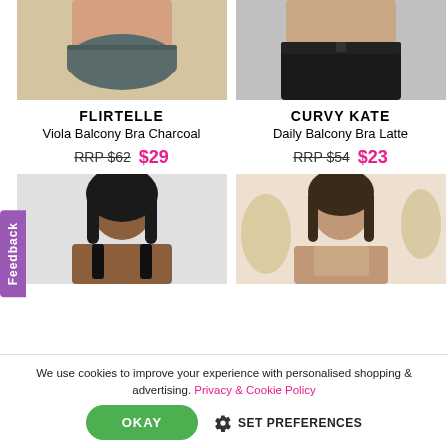[Figure (photo): Top half of a woman wearing charcoal/grey briefs, cropped at waist level with beige background]
[Figure (photo): Top half of a woman wearing black jeans, cropped at upper torso, grey background]
FLIRTELLE
Viola Balcony Bra Charcoal
RRP $62  $29
CURVY KATE
Daily Balcony Bra Latte
RRP $54  $23
[Figure (photo): Woman with dark hair smiling, wearing black bra, light grey background]
[Figure (photo): Woman with dark hair smiling, wearing beige/nude bra, warm background with plants]
We use cookies to improve your experience with personalised shopping & advertising. Privacy & Cookie Policy
OKAY   SET PREFERENCES